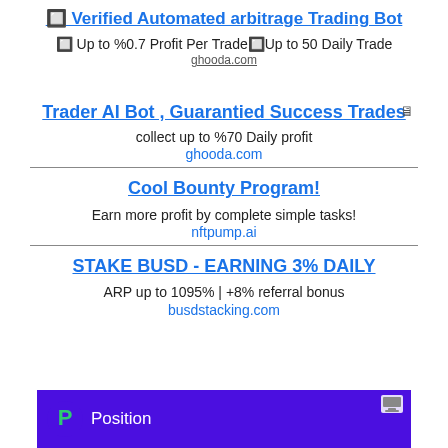🔲 Verified Automated arbitrage Trading Bot
🔲 Up to %0.7 Profit Per Trade🔲Up to 50 Daily Trade
ghooda.com
Trader AI Bot , Guarantied Success Trades
collect up to %70 Daily profit
ghooda.com
Cool Bounty Program!
Earn more profit by complete simple tasks!
nftpump.ai
STAKE BUSD - EARNING 3% DAILY
ARP up to 1095% | +8% referral bonus
busdstacking.com
[Figure (screenshot): Purple banner advertisement showing Position Trading logo and text on purple background]